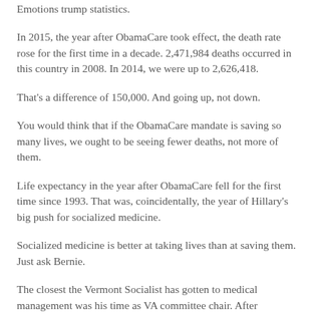Emotions trump statistics.
In 2015, the year after ObamaCare took effect, the death rate rose for the first time in a decade. 2,471,984 deaths occurred in this country in 2008. In 2014, we were up to 2,626,418.
That's a difference of 150,000. And going up, not down.
You would think that if the ObamaCare mandate is saving so many lives, we ought to be seeing fewer deaths, not more of them.
Life expectancy in the year after ObamaCare fell for the first time since 1993. That was, coincidentally, the year of Hillary's big push for socialized medicine.
Socialized medicine is better at taking lives than at saving them. Just ask Bernie.
The closest the Vermont Socialist has gotten to medical management was his time as VA committee chair. After